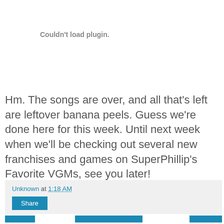Couldn't load plugin.
Hm. The songs are over, and all that's left are leftover banana peels. Guess we're done here for this week. Until next week when we'll be checking out several new franchises and games on SuperPhillip's Favorite VGMs, see you later!
Unknown at 1:18 AM